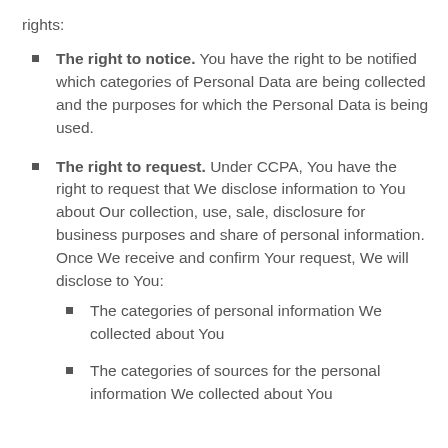rights:
The right to notice. You have the right to be notified which categories of Personal Data are being collected and the purposes for which the Personal Data is being used.
The right to request. Under CCPA, You have the right to request that We disclose information to You about Our collection, use, sale, disclosure for business purposes and share of personal information. Once We receive and confirm Your request, We will disclose to You:
The categories of personal information We collected about You
The categories of sources for the personal information We collected about You